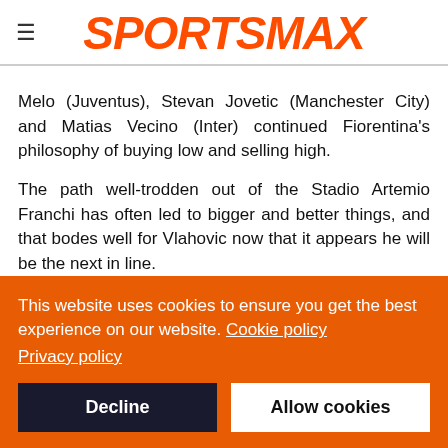SPORTSMAX
Melo (Juventus), Stevan Jovetic (Manchester City) and Matias Vecino (Inter) continued Fiorentina's philosophy of buying low and selling high.
The path well-trodden out of the Stadio Artemio Franchi has often led to bigger and better things, and that bodes well for Vlahovic now that it appears he will be the next in line.
He seems to have all the tools to be the star striker this current, rather dour, edition of the Bianconeri require. Indeed, Vlahovic's
This website uses cookies to ensure you get the best experience on our website. Cookie policy Privacy policy
Decline
Allow cookies